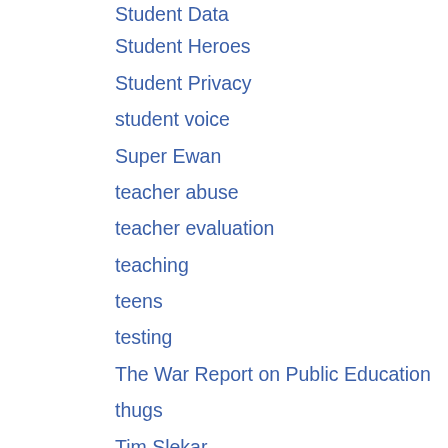Student Data
Student Heroes
Student Privacy
student voice
Super Ewan
teacher abuse
teacher evaluation
teaching
teens
testing
The War Report on Public Education
thugs
Tim Slekar
transcendental movement
Uncategorized
United Opt Out
unity
Walking Man